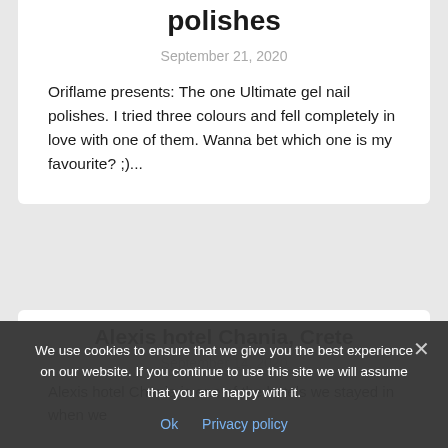polishes
September 21, 2020
Oriflame presents: The one Ultimate gel nail polishes. I tried three colours and fell completely in love with one of them. Wanna bet which one is my favourite? ;)...
Alexis hotel Chania, Crete
September 14, 2020
Alexis hotel Chania is one of the hotels we stayed in when we
We use cookies to ensure that we give you the best experience on our website. If you continue to use this site we will assume that you are happy with it.
Ok   Privacy policy